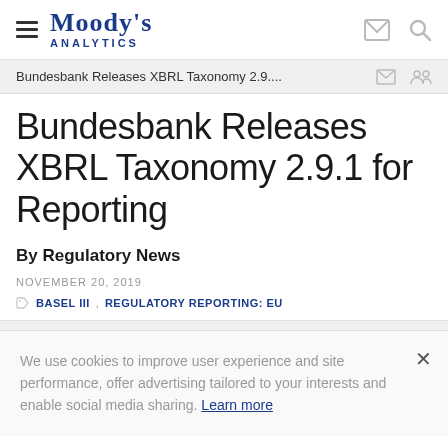Moody's Analytics
Bundesbank Releases XBRL Taxonomy 2.9....
Bundesbank Releases XBRL Taxonomy 2.9.1 for Reporting
By Regulatory News
NOVEMBER 20, 2019
BASEL III, REGULATORY REPORTING: EU
We use cookies to improve user experience and site performance, offer advertising tailored to your interests and enable social media sharing. Learn more